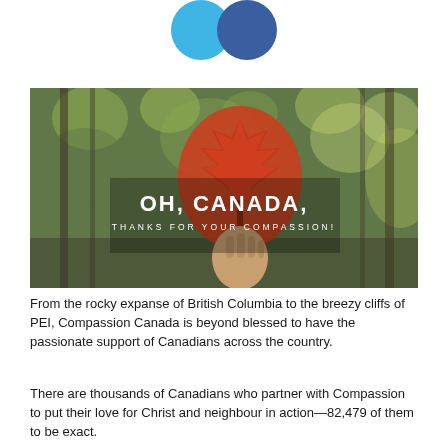[Figure (illustration): Two overlapping circles/icons at top center — a lighter blue circle on the left and a darker blue circle on the right, resembling social media or brand icons.]
[Figure (photo): A photograph of a hand holding a red/orange autumn maple leaf up against a blurred forest background with yellow-green foliage. Overlaid text reads 'OH, CANADA,' in large white letters and 'THANKS FOR YOUR COMPASSION!' in smaller white spaced letters below.]
From the rocky expanse of British Columbia to the breezy cliffs of PEI, Compassion Canada is beyond blessed to have the passionate support of Canadians across the country.
There are thousands of Canadians who partner with Compassion to put their love for Christ and neighbour in action—82,479 of them to be exact.